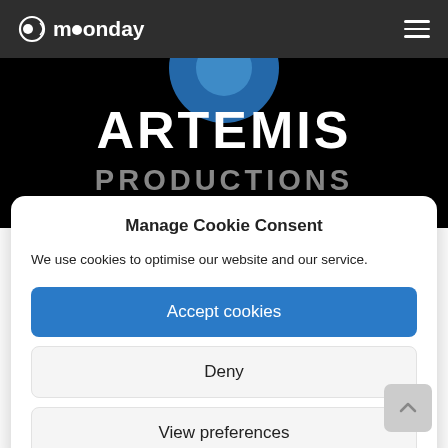moonday
[Figure (screenshot): Artemis Productions logo on black background with blue circle element at top]
Manage Cookie Consent
We use cookies to optimise our website and our service.
Accept cookies
Deny
View preferences